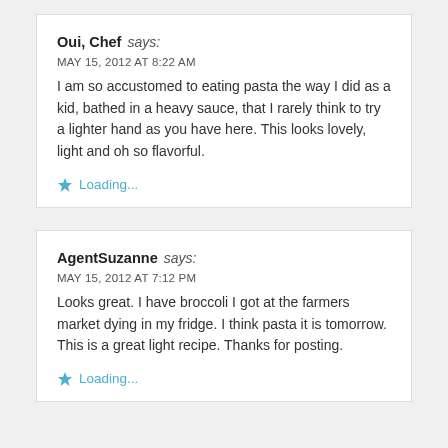Oui, Chef says: MAY 15, 2012 AT 8:22 AM — I am so accustomed to eating pasta the way I did as a kid, bathed in a heavy sauce, that I rarely think to try a lighter hand as you have here. This looks lovely, light and oh so flavorful. Loading...
AgentSuzanne says: MAY 15, 2012 AT 7:12 PM — Looks great. I have broccoli I got at the farmers market dying in my fridge. I think pasta it is tomorrow. This is a great light recipe. Thanks for posting. Loading...